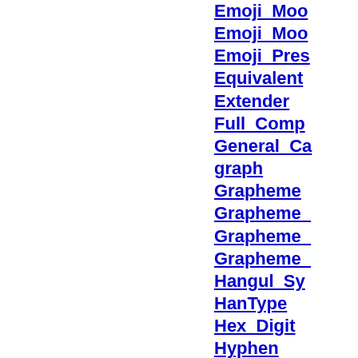Emoji_Mod...
Emoji_Mod...
Emoji_Pres...
Equivalent...
Extender
Full_Comp...
General_Ca...
graph
Grapheme...
Grapheme_...
Grapheme_...
Grapheme_...
Hangul_Sy...
HanType
Hex_Digit
Hyphen
ID_Continu...
ID_Start
Identifier_S...
Identifier_T...
Ideographi...
Idn_2008...